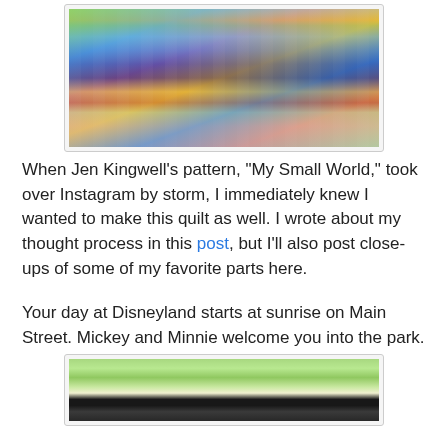[Figure (photo): A large colorful patchwork quilt hanging on a wall, featuring many small house and building shapes in a variety of fabrics and colors — greens, blues, oranges, reds, pinks. The bottom portion shows a gray wall.]
When Jen Kingwell's pattern, "My Small World," took over Instagram by storm, I immediately knew I wanted to make this quilt as well. I wrote about my thought process in this post, but I'll also post close-ups of some of my favorite parts here.
Your day at Disneyland starts at sunrise on Main Street. Mickey and Minnie welcome you into the park.
[Figure (photo): A close-up of the lower portion of the quilt showing green and white patchwork squares at the top, with large black star/pinwheel shapes on a dark background in the lower portion.]